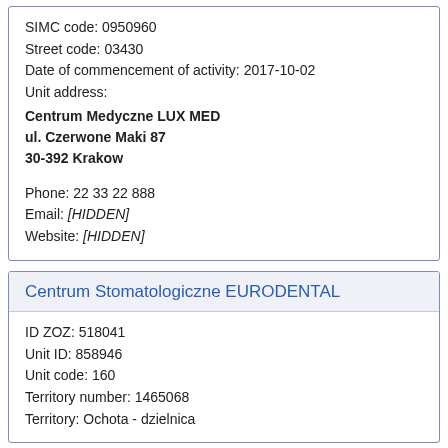SIMC code: 0950960
Street code: 03430
Date of commencement of activity: 2017-10-02
Unit address:
Centrum Medyczne LUX MED
ul. Czerwone Maki 87
30-392 Krakow

Phone: 22 33 22 888
Email: [HIDDEN]
Website: [HIDDEN]
Centrum Stomatologiczne EURODENTAL
ID ZOZ: 518041
Unit ID: 858946
Unit code: 160
Territory number: 1465068
Territory: Ochota - dzielnica